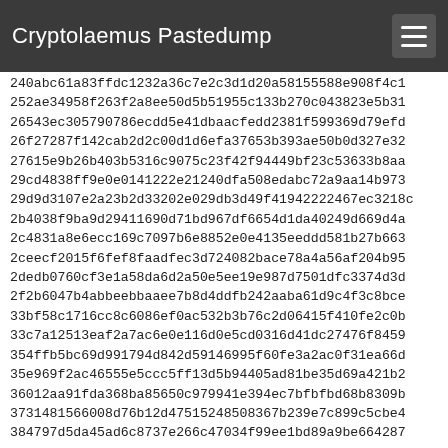Cryptolaemus Pastedump
240abc61a83ffdc1232a36c7e2c3d1d20a58155588e908f4c1
252ae34958f263f2a8ee50d5b51955c133b270c043823e5b31
26543ec305790786ecdd5e41dbaacfedd2381f599369d79efd
26f27287f142cab2d2c00d1d6efa37653b393ae50b0d327e32
27615e9b26b403b5316c9075c23f42f94449bf23c53633b8aa
29cd4838ff9e0e0141222e21240dfa508edabc72a9aa14b973
29d9d3107e2a23b2d33202e029db3d49f41942222467ec3218c
2b4038f9ba9d29411690d71bd967df6654d1da40249d669d4a
2c4831a8e6ecc169c7097b6e8852e0e4135eeddd581b27b663
2ceecf2015f6fef8faadfec3d724082bace78a4a56af204b95
2dedb0760cf3e1a58da6d2a50e5ee19e987d7501dfc3374d3d
2f2b6047b4abbeebbaaee7b8d4ddfb242aaba61d9c4f3c8bce
33bf58c1716cc8c6086ef0ac532b3b76c2d06415f410fe2c0b
33c7a12513eaf2a7ac6e0e116d0e5cd0316d41dc27476f8459
354ffb5bc69d991794d842d59146995f60fe3a2ac0f31ea66d
35e969f2ac46555e5ccc5ff13d5b94405ad81be35d69a421b2
36012aa91fda368ba85650c979941e394ec7bfbfbd68b8309b
3731481566008d76b12d47515248508367b239e7c899c5cbe4
384797d5da45ad6c8737e266c47034f99ee1bd89a9be664287